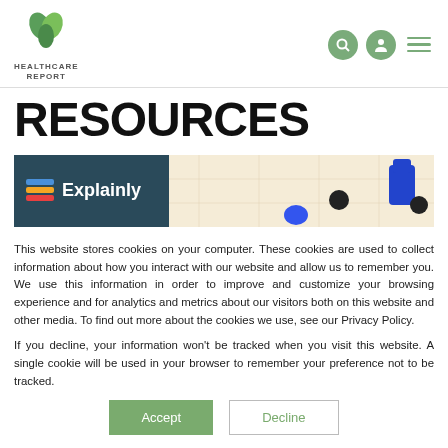HEALTHCARE REPORT
RESOURCES
[Figure (illustration): Banner image showing Explainly logo on dark teal background with illustrated people figures raising hands on a beige/cream background]
This website stores cookies on your computer. These cookies are used to collect information about how you interact with our website and allow us to remember you. We use this information in order to improve and customize your browsing experience and for analytics and metrics about our visitors both on this website and other media. To find out more about the cookies we use, see our Privacy Policy.
If you decline, your information won't be tracked when you visit this website. A single cookie will be used in your browser to remember your preference not to be tracked.